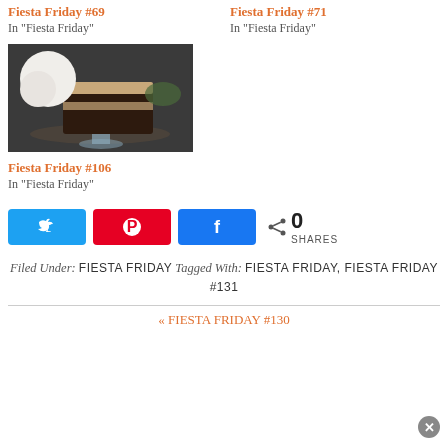Fiesta Friday #69
In "Fiesta Friday"
Fiesta Friday #71
In "Fiesta Friday"
[Figure (photo): Photo of a chocolate cake slice with cream/meringue topping on a cake stand]
Fiesta Friday #106
In "Fiesta Friday"
[Figure (infographic): Social share buttons: Twitter (blue), Pinterest (red), Facebook (blue), with share count 0 SHARES]
Filed Under: FIESTA FRIDAY Tagged With: FIESTA FRIDAY, FIESTA FRIDAY #131
« FIESTA FRIDAY #130